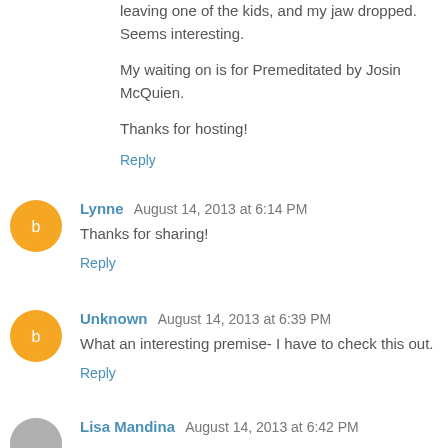leaving one of the kids, and my jaw dropped. Seems interesting.
My waiting on is for Premeditated by Josin McQuien.
Thanks for hosting!
Reply
Lynne August 14, 2013 at 6:14 PM
Thanks for sharing!
Reply
Unknown August 14, 2013 at 6:39 PM
What an interesting premise- I have to check this out.
Reply
Lisa Mandina August 14, 2013 at 6:42 PM